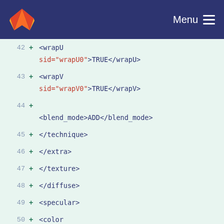GitLab — Menu
[Figure (screenshot): Code diff view showing XML lines 42-56 with additions marked by '+' signs on a light green background. Lines show XML tags including wrapU, wrapV, blend_mode, technique, extra, texture, diffuse, specular, color, shininess, float, reflective elements.]